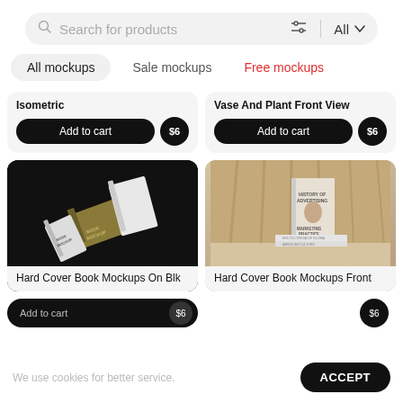[Figure (screenshot): Search bar with magnifier icon, 'Search for products' placeholder text, filter/sliders icon, 'All' category dropdown with chevron]
All mockups
Sale mockups
Free mockups
Isometric
Add to cart  $6
Vase And Plant Front View
Add to cart  $6
[Figure (photo): Hard cover book mockups on black background — two books floating at angles, one olive/gold colored, one white with grid texture]
Hard Cover Book Mockups On Blk
[Figure (photo): Hard cover book mockups front view — books stacked on beige surface with curtain backdrop, top book reads 'History of Advertising / Marketing Practice']
Hard Cover Book Mockups Front
We use cookies for better service.
ACCEPT